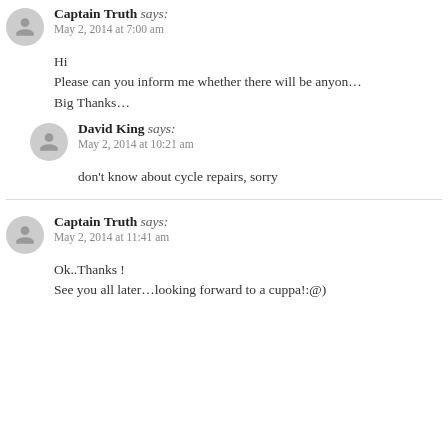Captain Truth says: May 2, 2014 at 7:00 am
Hi
Please can you inform me whether there will be anyone…
Big Thanks…
David King says: May 2, 2014 at 10:21 am
don't know about cycle repairs, sorry
Captain Truth says: May 2, 2014 at 11:41 am
Ok..Thanks !
See you all later…looking forward to a cuppa!:@)